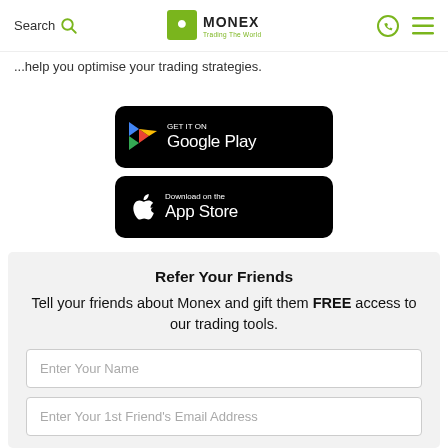Search | MONEX Trading The World
…help you optimise your trading strategies.
[Figure (screenshot): Google Play Store download button — black rounded rectangle with Play triangle icon and text 'GET IT ON Google Play']
[Figure (screenshot): Apple App Store download button — black rounded rectangle with Apple logo and text 'Download on the App Store']
Refer Your Friends
Tell your friends about Monex and gift them FREE access to our trading tools.
Enter Your Name
Enter Your 1st Friend's Email Address